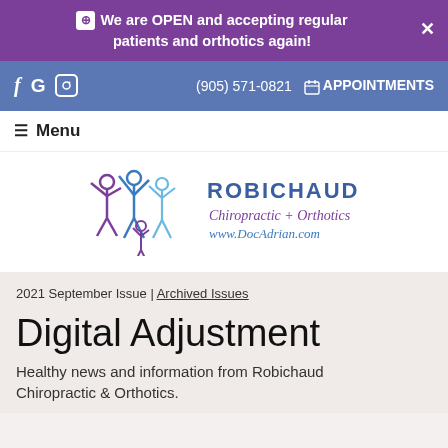We are OPEN and accepting regular patients and orthotics again!
f G ☉  (905) 571-0821  APPOINTMENTS
☰ Menu
[Figure (logo): Robichaud Chiropractic + Orthotics logo with stylized human figures in purple and blue, text: ROBICHAUD Chiropractic + Orthotics www.DocAdrian.com]
2021 September Issue | Archived Issues
Digital Adjustment
Healthy news and information from Robichaud Chiropractic & Orthotics.